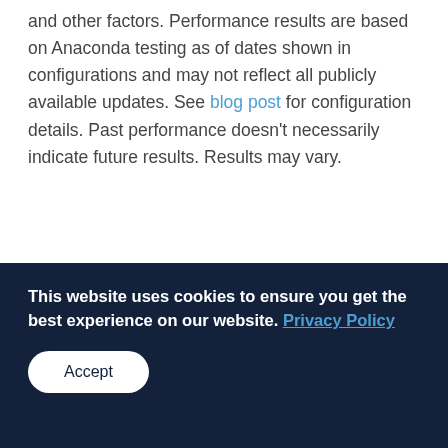and other factors. Performance results are based on Anaconda testing as of dates shown in configurations and may not reflect all publicly available updates. See blog post for configuration details. Past performance doesn't necessarily indicate future results. Results may vary.
This website uses cookies to ensure you get the best experience on our website. Privacy Policy
Accept